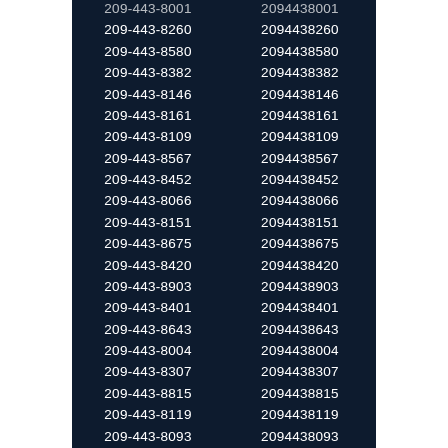| Formatted | Unformatted |
| --- | --- |
| 209-443-8260 | 2094438260 |
| 209-443-8580 | 2094438580 |
| 209-443-8382 | 2094438382 |
| 209-443-8146 | 2094438146 |
| 209-443-8161 | 2094438161 |
| 209-443-8109 | 2094438109 |
| 209-443-8567 | 2094438567 |
| 209-443-8452 | 2094438452 |
| 209-443-8066 | 2094438066 |
| 209-443-8151 | 2094438151 |
| 209-443-8675 | 2094438675 |
| 209-443-8420 | 2094438420 |
| 209-443-8903 | 2094438903 |
| 209-443-8401 | 2094438401 |
| 209-443-8643 | 2094438643 |
| 209-443-8004 | 2094438004 |
| 209-443-8307 | 2094438307 |
| 209-443-8815 | 2094438815 |
| 209-443-8119 | 2094438119 |
| 209-443-8093 | 2094438093 |
| 209-443-8985 | 2094438985 |
| 209-443-8597 | 2094438597 |
| 209-443-8874 | 2094438874 |
| 209-443-8026 | 2094438026 |
| 209-443-8018 | 2094438018 |